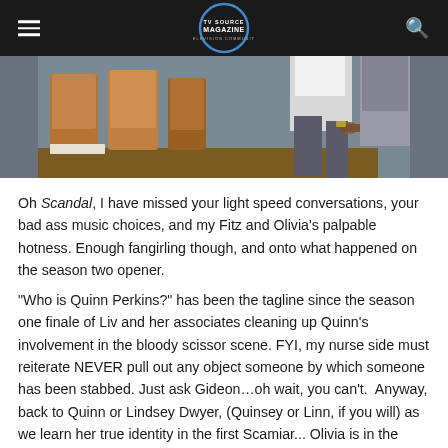TV Source Magazine header with hamburger menu and search icon
[Figure (photo): Partial photo showing conference room chairs and a standing figure, cropped at top]
Oh Scandal, I have missed your light speed conversations, your bad ass music choices, and my Fitz and Olivia's palpable hotness. Enough fangirling though, and onto what happened on the season two opener.
“Who is Quinn Perkins?” has been the tagline since the season one finale of Liv and her associates cleaning up Quinn's involvement in the bloody scissor scene. FYI, my nurse side must reiterate NEVER pull out any object someone by which someone has been stabbed. Just ask Gideon…oh wait, you can't.  Anyway, back to Quinn or Lindsey Dwyer, (Quinsey or Linn, if you will) as we learn her true identity in the first Scamiar... Olivia is in the middle of defending a judge...